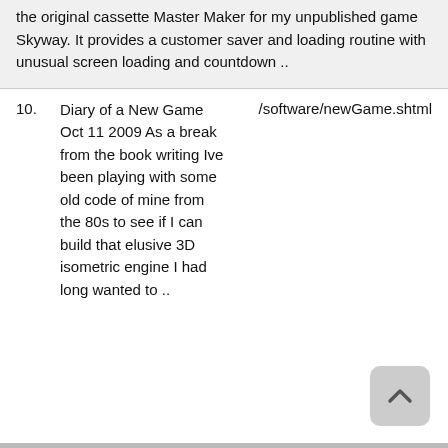the original cassette Master Maker for my unpublished game Skyway. It provides a customer saver and loading routine with unusual screen loading and countdown ..
10.  Diary of a New Game Oct 11 2009 As a break from the book writing Ive been playing with some old code of mine from the 80s to see if I can build that elusive 3D isometric engine I had long wanted to ..   /software/newGame.shtml
[Figure (other): Scroll-to-top button: rounded rectangle with upward chevron arrow]